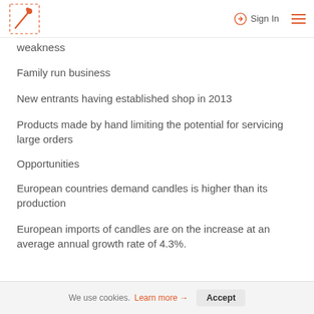Sign In
Weakness
Family run business
New entrants having established shop in 2013
Products made by hand limiting the potential for servicing large orders
Opportunities
European countries demand candles is higher than its production
European imports of candles are on the increase at an average annual growth rate of 4.3%.
We use cookies. Learn more → Accept